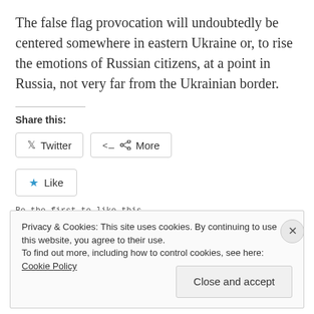The false flag provocation will undoubtedly be centered somewhere in eastern Ukraine or, to rise the emotions of Russian citizens, at a point in Russia, not very far from the Ukrainian border.
Share this:
[Figure (screenshot): Social sharing buttons: Twitter and More]
[Figure (screenshot): Like button with star icon]
Be the first to like this.
Privacy & Cookies: This site uses cookies. By continuing to use this website, you agree to their use.
To find out more, including how to control cookies, see here: Cookie Policy
Close and accept